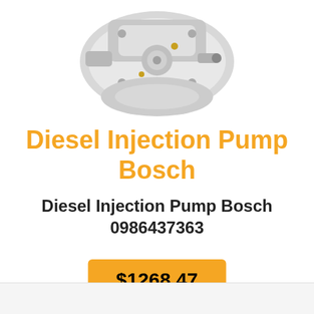[Figure (photo): Diesel injection pump Bosch product photo, white/grey mechanical pump component photographed from above against white background]
Diesel Injection Pump Bosch
Diesel Injection Pump Bosch 0986437363
$1268.47